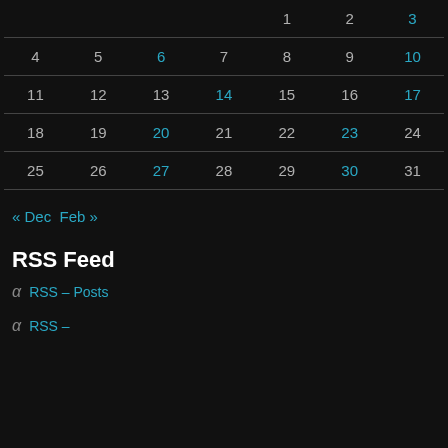|  |  |  |  | 1 | 2 | 3 |
| 4 | 5 | 6 | 7 | 8 | 9 | 10 |
| 11 | 12 | 13 | 14 | 15 | 16 | 17 |
| 18 | 19 | 20 | 21 | 22 | 23 | 24 |
| 25 | 26 | 27 | 28 | 29 | 30 | 31 |
« Dec  Feb »
RSS Feed
α RSS – Posts
α RSS –